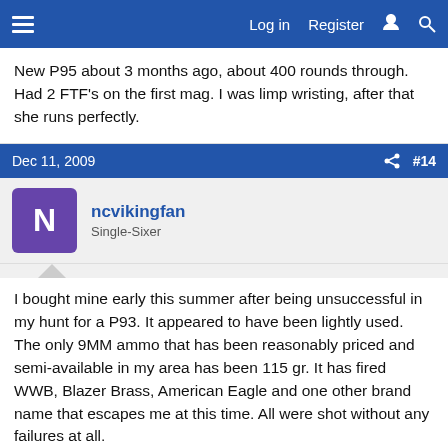Log in  Register  [lightning] [search]
New P95 about 3 months ago, about 400 rounds through. Had 2 FTF's on the first mag. I was limp wristing, after that she runs perfectly.
Dec 11, 2009  #14
ncvikingfan
Single-Sixer
I bought mine early this summer after being unsuccessful in my hunt for a P93. It appeared to have been lightly used. The only 9MM ammo that has been reasonably priced and semi-available in my area has been 115 gr. It has fired WWB, Blazer Brass, American Eagle and one other brand name that escapes me at this time. All were shot without any failures at all.
Dec 11, 2009  #15
Spikess